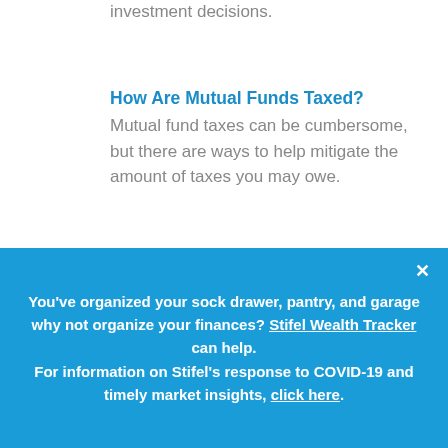investment decisions.
How Are Mutual Funds Taxed?
Mutual fund taxes can be cumbersome, but there are ways to help mitigate the amount of taxes you may owe.
What Is Stock?
Before investing in stocks, it is important to understand some of the basics and the risks involved in owning stocks.
You've organized your sock drawer, pantry, and garage why not organize your finances? Stifel Wealth Tracker can help.
For information on Stifel's response to COVID-19 and timely market insights, click here.